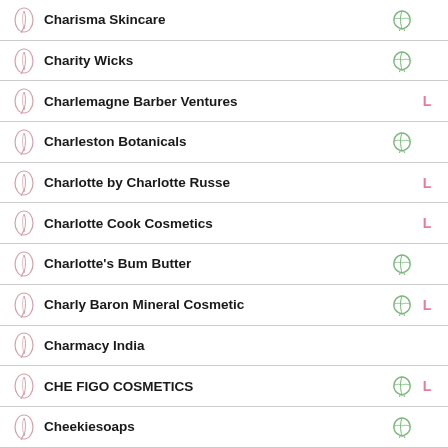Charisma Skincare
Charity Wicks
Charlemagne Barber Ventures
Charleston Botanicals
Charlotte by Charlotte Russe
Charlotte Cook Cosmetics
Charlotte's Bum Butter
Charly Baron Mineral Cosmetic
Charmacy India
CHE FIGO COSMETICS
Cheekiesoaps